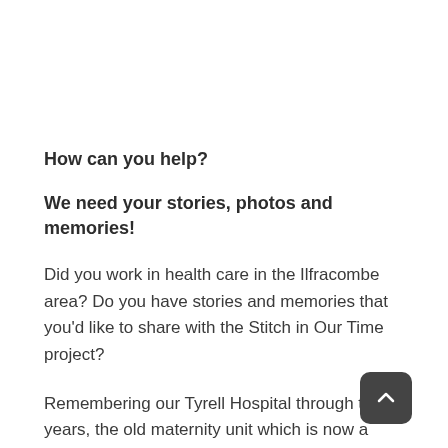How can you help?
We need your stories, photos and memories!
Did you work in health care in the Ilfracombe area? Do you have stories and memories that you'd like to share with the Stitch in Our Time project?
Remembering our Tyrell Hospital through the years, the old maternity unit which is now a care home, the isolation hospital and how nursing and